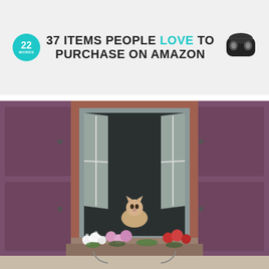[Figure (infographic): Banner advertisement: 22 Words logo (teal circle) on left, text '37 ITEMS PEOPLE LOVE TO PURCHASE ON AMAZON' in bold black and teal, earbuds product image on right, on light gray background]
[Figure (photo): Photograph of a European-style building window with open purple/mauve wooden shutters, a brick-framed white casement window open outward, a fluffy cat sitting on the sill, and a window box full of colorful flowers (white, pink, red) below]